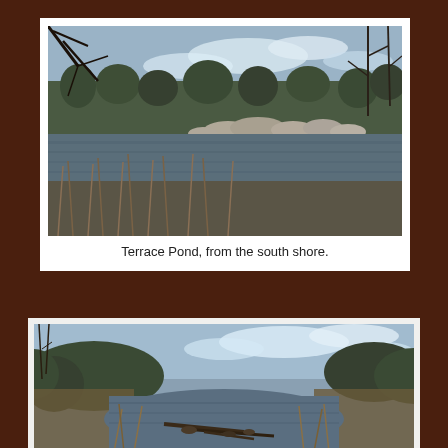[Figure (photo): Photograph of Terrace Pond from the south shore. Shows a calm pond with bare winter trees in the background, large rocks along the far shoreline, and dried reeds/vegetation in the foreground. Blue sky with light clouds visible.]
Terrace Pond, from the south shore.
[Figure (photo): Photograph of a pond scene showing calm water with fallen logs and debris near the shoreline. Dense bare trees line the background under a partly cloudy blue sky. Dried marsh vegetation frames the foreground.]